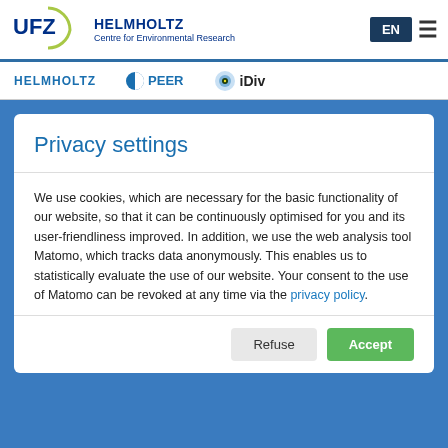[Figure (logo): UFZ Helmholtz Centre for Environmental Research logo with EN language button and hamburger menu]
HELMHOLTZ   PEER   iDiv
Privacy settings
We use cookies, which are necessary for the basic functionality of our website, so that it can be continuously optimised for you and its user-friendliness improved. In addition, we use the web analysis tool Matomo, which tracks data anonymously. This enables us to statistically evaluate the use of our website. Your consent to the use of Matomo can be revoked at any time via the privacy policy.
Refuse   Accept